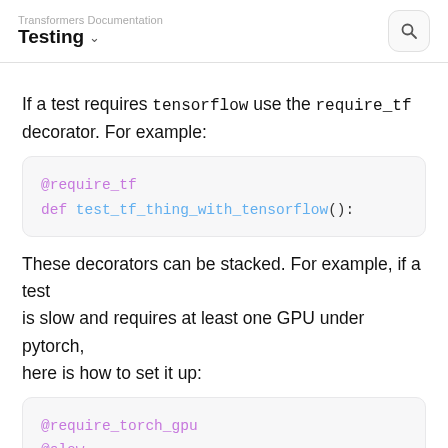Transformers Documentation
Testing
If a test requires tensorflow use the require_tf decorator. For example:
These decorators can be stacked. For example, if a test is slow and requires at least one GPU under pytorch, here is how to set it up: